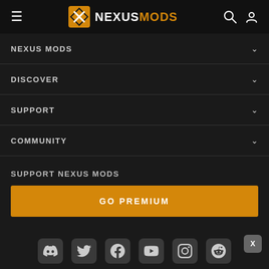NEXUSMODS navigation header with hamburger menu, logo, search and user icons
NEXUS MODS
DISCOVER
SUPPORT
COMMUNITY
SUPPORT NEXUS MODS
GO PREMIUM
[Figure (infographic): Social media icons row: Discord, Twitter, Facebook, YouTube, Instagram, Reddit, with X badge]